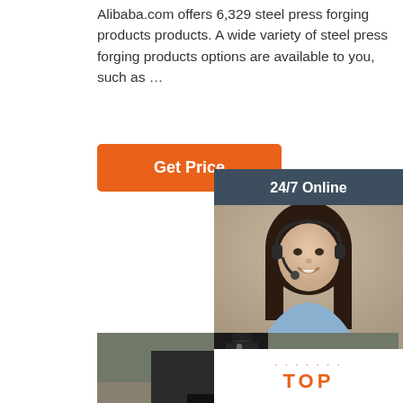Alibaba.com offers 6,329 steel press forging products products. A wide variety of steel press forging products options are available to you, such as …
[Figure (other): Orange 'Get Price' button]
[Figure (other): Sidebar panel with '24/7 Online' header, photo of woman with headset, 'Click here for free chat!' text, and orange QUOTATION button]
[Figure (photo): Photo of a steel press forging machine in an industrial workshop setting, showing a large black mechanical forging press with cylindrical components]
[Figure (other): Orange dotted TOP navigation button at bottom right]